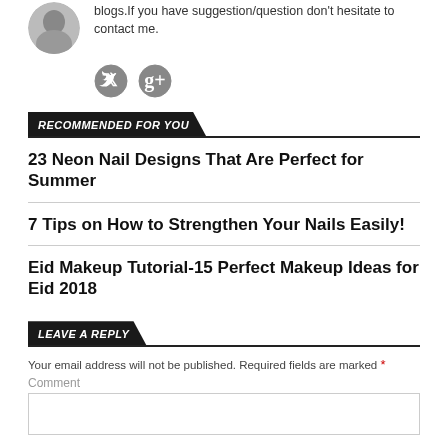[Figure (photo): Partial profile photo of a person (top-left corner, circular crop)]
blogs.If you have suggestion/question don't hesitate to contact me.
[Figure (illustration): Twitter and Google+ social media icons]
RECOMMENDED FOR YOU
23 Neon Nail Designs That Are Perfect for Summer
7 Tips on How to Strengthen Your Nails Easily!
Eid Makeup Tutorial-15 Perfect Makeup Ideas for Eid 2018
LEAVE A REPLY
Your email address will not be published. Required fields are marked *
Comment